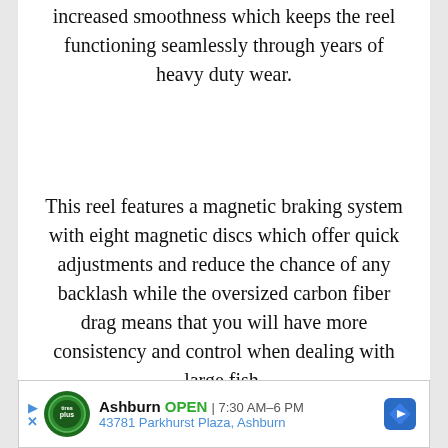increased smoothness which keeps the reel functioning seamlessly through years of heavy duty wear.
This reel features a magnetic braking system with eight magnetic discs which offer quick adjustments and reduce the chance of any backlash while the oversized carbon fiber drag means that you will have more consistency and control when dealing with large fish.
The design of this reel is ergonomic and compact to ensure that it is comfortable when used for long periods of time.
[Figure (other): Advertisement banner: Tires Plus logo, Ashburn OPEN 7:30AM-6PM, 43781 Parkhurst Plaza Ashburn, navigation arrow icon]